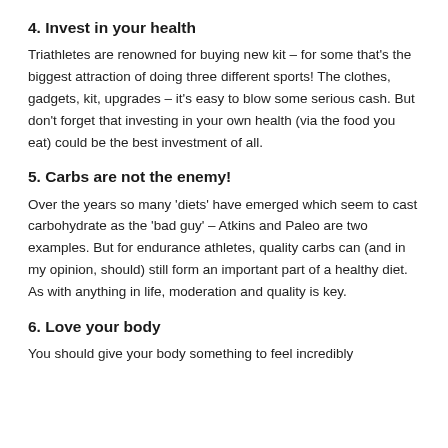4. Invest in your health
Triathletes are renowned for buying new kit – for some that's the biggest attraction of doing three different sports! The clothes, gadgets, kit, upgrades – it's easy to blow some serious cash. But don't forget that investing in your own health (via the food you eat) could be the best investment of all.
5. Carbs are not the enemy!
Over the years so many 'diets' have emerged which seem to cast carbohydrate as the 'bad guy' – Atkins and Paleo are two examples. But for endurance athletes, quality carbs can (and in my opinion, should) still form an important part of a healthy diet. As with anything in life, moderation and quality is key.
6. Love your body
You should give your body something to feel incredibly...